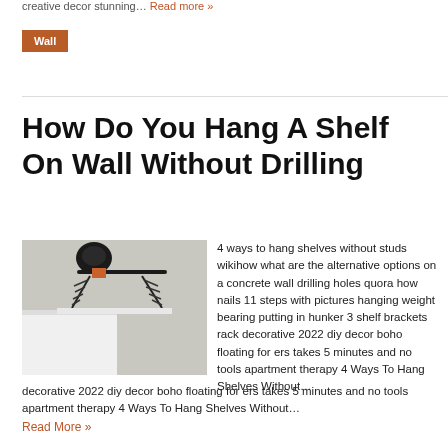creative decor stunning… Read more »
Wall
How Do You Hang A Shelf On Wall Without Drilling
[Figure (photo): Photo of a hanging shelf bracket with black chains attached to a wall hook, with a white shelf below]
4 ways to hang shelves without studs wikihow what are the alternative options on a concrete wall drilling holes quora how nails 11 steps with pictures hanging weight bearing putting in hunker 3 shelf brackets rack decorative 2022 diy decor boho floating for ers takes 5 minutes and no tools apartment therapy 4 Ways To Hang Shelves Without…
Read More »